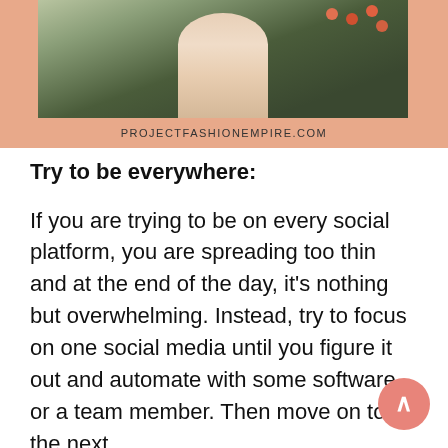[Figure (photo): A woman in a flowing peach/cream dress posing outdoors against a dark green leafy background. Red/orange berries or flowers visible. Watermark bar at bottom reads PROJECTFASHIONEMPIRE.COM]
Try to be everywhere:
If you are trying to be on every social platform, you are spreading too thin and at the end of the day, it's nothing but overwhelming. Instead, try to focus on one social media until you figure it out and automate with some software or a team member. Then move on to the next